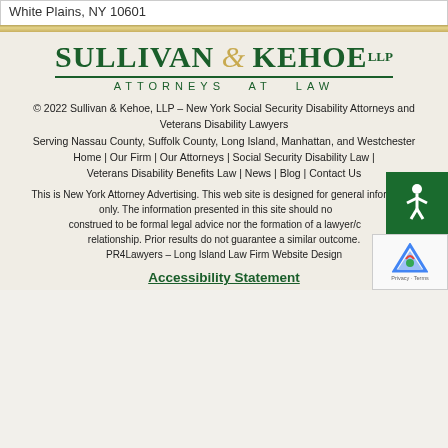White Plains, NY 10601
[Figure (logo): Sullivan & Kehoe LLP Attorneys at Law logo in dark green with gold ampersand]
© 2022 Sullivan & Kehoe, LLP – New York Social Security Disability Attorneys and Veterans Disability Lawyers
Serving Nassau County, Suffolk County, Long Island, Manhattan, and Westchester
Home | Our Firm | Our Attorneys | Social Security Disability Law | Veterans Disability Benefits Law | News | Blog | Contact Us
This is New York Attorney Advertising. This web site is designed for general information only. The information presented in this site should not be construed to be formal legal advice nor the formation of a lawyer/client relationship. Prior results do not guarantee a similar outcome.
PR4Lawyers – Long Island Law Firm Website Design
Accessibility Statement